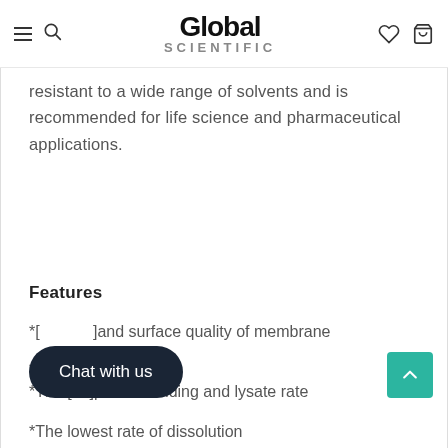Global Scientific
resistant to a wide range of solvents and is recommended for life science and pharmaceutical applications.
Features
* [obscured] and surface quality of membrane
* [obscured] atibility
* The [obscured] protein binding and lysate rate
* The lowest rate of dissolution